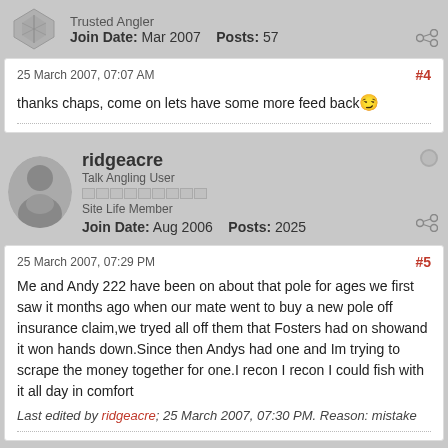Trusted Angler
Join Date: Mar 2007   Posts: 57
25 March 2007, 07:07 AM  #4
thanks chaps, come on lets have some more feed back 😏
ridgeacre
Talk Angling User
Site Life Member
Join Date: Aug 2006   Posts: 2025
25 March 2007, 07:29 PM  #5
Me and Andy 222 have been on about that pole for ages we first saw it months ago when our mate went to buy a new pole off insurance claim,we tryed all off them that Fosters had on showand it won hands down.Since then Andys had one and Im trying to scrape the money together for one.I recon I recon I could fish with it all day in comfort
Last edited by ridgeacre; 25 March 2007, 07:30 PM. Reason: mistake